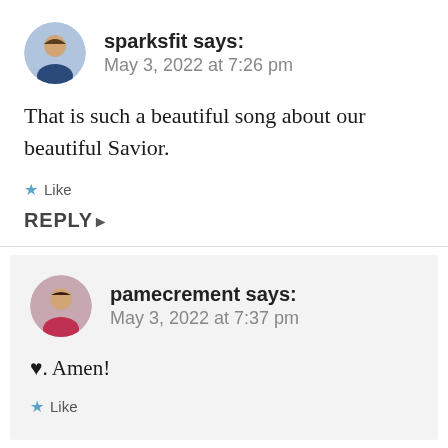sparksfit says: May 3, 2022 at 7:26 pm
That is such a beautiful song about our beautiful Savior.
Like
REPLY
pamecrement says: May 3, 2022 at 7:37 pm
♥. Amen!
Like